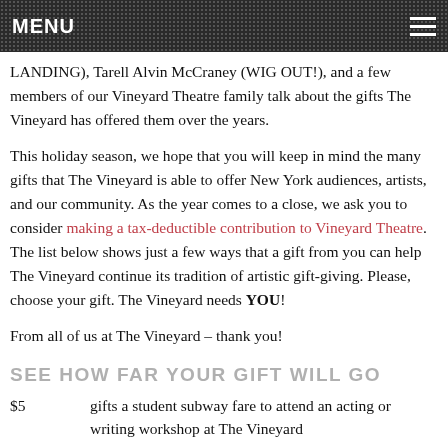MENU
LANDING), Tarell Alvin McCraney (WIG OUT!), and a few members of our Vineyard Theatre family talk about the gifts The Vineyard has offered them over the years.
This holiday season, we hope that you will keep in mind the many gifts that The Vineyard is able to offer New York audiences, artists, and our community. As the year comes to a close, we ask you to consider making a tax-deductible contribution to Vineyard Theatre. The list below shows just a few ways that a gift from you can help The Vineyard continue its tradition of artistic gift-giving. Please, choose your gift. The Vineyard needs YOU!
From all of us at The Vineyard – thank you!
SEE HOW FAR YOUR GIFT WILL GO
| Amount | Description |
| --- | --- |
| $5 | gifts a student subway fare to attend an acting or writing workshop at The Vineyard |
| $30 | gifts the copying of scripts and supplies for a reading of a new play |